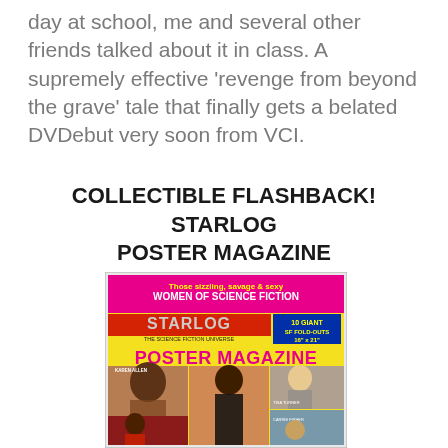day at school, me and several other friends talked about it in class. A supremely effective 'revenge from beyond the grave' tale that finally gets a belated DVDebut very soon from VCI.
COLLECTIBLE FLASHBACK! STARLOG POSTER MAGAZINE
[Figure (photo): Cover of Starlog Poster Magazine featuring women of science fiction. Text reads 'Those sizzling, savage & sexy WOMEN OF SCIENCE FICTION', '10 GIANT SF FOLD-OUTS 16" x 21"', 'POSTER MAGAZINE', 'THE SCIENCE FICTION UNIVERSE'. Features photos of Karen Allen, Tina Turner, Carrie Fisher and other women.]